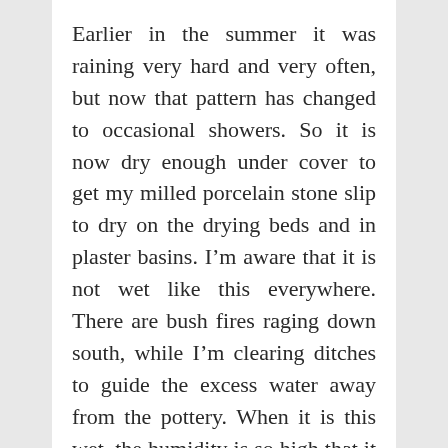Earlier in the summer it was raining very hard and very often, but now that pattern has changed to occasional showers. So it is now dry enough under cover to get my milled porcelain stone slip to dry on the drying beds and in plaster basins. I'm aware that it is not wet like this everywhere. There are bush fires raging down south, while I'm clearing ditches to guide the excess water away from the pottery. When it is this wet, the humidity is so high that it is very hard to dry liquid clay slip. It just tends to sit there and go